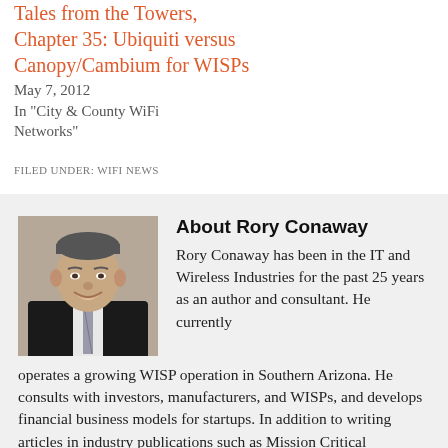Tales from the Towers, Chapter 35: Ubiquiti versus Canopy/Cambium for WISPs
May 7, 2012
In "City & County WiFi Networks"
FILED UNDER: WIFI NEWS
About Rory Conaway
Rory Conaway has been in the IT and Wireless Industries for the past 25 years as an author and consultant. He currently operates a growing WISP operation in Southern Arizona. He consults with investors, manufacturers, and WISPs, and develops financial business models for startups. In addition to writing articles in industry publications such as Mission Critical Magazine, Mr. Conaway also writes the series “Tales from the Towers” that can be found on various such as www.triadwireless.net and www.muniwireless.com. He
[Figure (photo): Headshot photo of Rory Conaway, a man in a dark suit with a striped tie, smiling.]